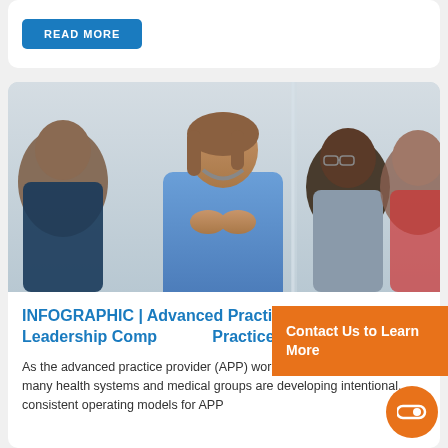READ MORE
[Figure (photo): A nurse in blue scrubs with a stethoscope around her neck speaks to a group of colleagues in a healthcare setting. She is gesturing with her hands while others listen attentively.]
INFOGRAPHIC | Advanced Practice Provider Leadership Comp... Practices
As the advanced practice provider (APP) workforce continues to evolve, many health systems and medical groups are developing intentional, consistent operating models for APP
Contact Us to Learn More